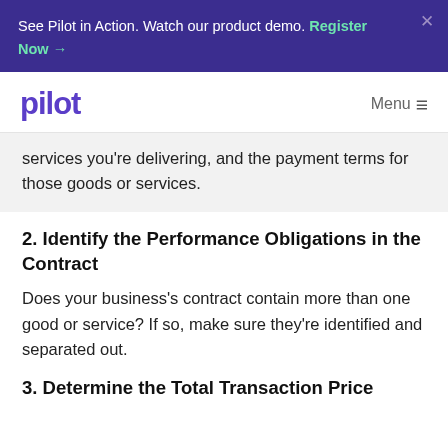See Pilot in Action. Watch our product demo. Register Now →
pilot  Menu ≡
services you're delivering, and the payment terms for those goods or services.
2. Identify the Performance Obligations in the Contract
Does your business's contract contain more than one good or service? If so, make sure they're identified and separated out.
3. Determine the Total Transaction Price